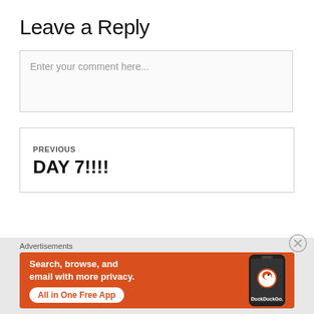Leave a Reply
Enter your comment here...
PREVIOUS
DAY 7!!!!
Advertisements
[Figure (infographic): DuckDuckGo advertisement banner on orange background: 'Search, browse, and email with more privacy. All in One Free App' with phone graphic showing DuckDuckGo logo]